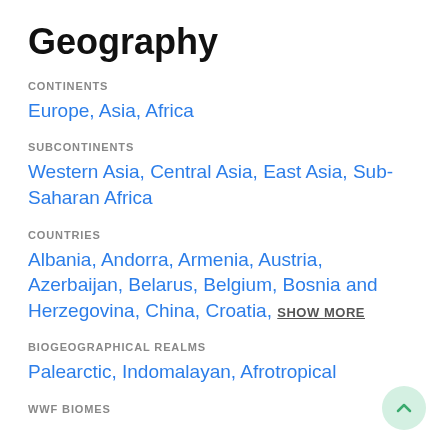Geography
CONTINENTS
Europe,  Asia,  Africa
SUBCONTINENTS
Western Asia,  Central Asia,  East Asia,  Sub-Saharan Africa
COUNTRIES
Albania,  Andorra,  Armenia,  Austria,  Azerbaijan,  Belarus,  Belgium,  Bosnia and Herzegovina,  China,  Croatia,  SHOW MORE
BIOGEOGRAPHICAL REALMS
Palearctic,  Indomalayan,  Afrotropical
WWF BIOMES